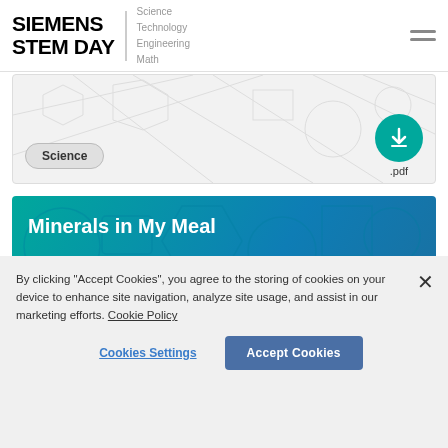SIEMENS STEM DAY — Science Technology Engineering Math
[Figure (screenshot): Science card with background pattern lines, Science badge, and PDF download button]
Science
[Figure (screenshot): Minerals in My Meal card with teal/blue gradient background and STEM icon pattern]
Minerals in My Meal
Healthcare
By clicking "Accept Cookies", you agree to the storing of cookies on your device to enhance site navigation, analyze site usage, and assist in our marketing efforts. Cookie Policy
Cookies Settings
Accept Cookies